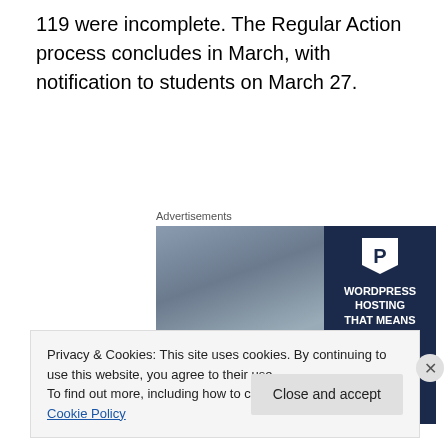119 were incomplete. The Regular Action process concludes in March, with notification to students on March 27.
Advertisements
[Figure (illustration): Advertisement for WordPress hosting showing a woman holding an 'OPEN' sign on the left side and text 'WORDPRESS HOSTING THAT MEANS BUSINESS.' on a dark navy background on the right, with a 'P' logo.]
Privacy & Cookies: This site uses cookies. By continuing to use this website, you agree to their use.
To find out more, including how to control cookies, see here: Cookie Policy
Close and accept